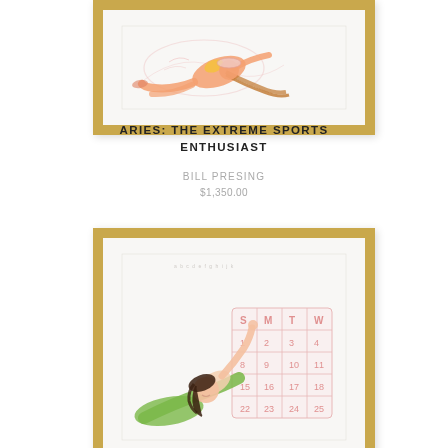[Figure (illustration): Framed artwork showing a pin-up style illustration of a woman in a bikini surfing or doing an extreme sport, rendered in watercolor/sketch style with pink and orange tones, in a gold wooden frame]
ARIES: THE EXTREME SPORTS ENTHUSIAST
BILL PRESING
$1,350.00
[Figure (illustration): Framed artwork showing a pin-up style illustration of a dark-haired woman in a green dress lying down and looking at a large grid/calendar, rendered in pink watercolor/sketch style, in a gold wooden frame]